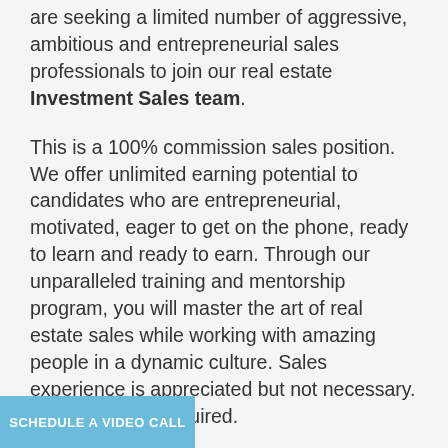are seeking a limited number of aggressive, ambitious and entrepreneurial sales professionals to join our real estate Investment Sales team.
This is a 100% commission sales position. We offer unlimited earning potential to candidates who are entrepreneurial, motivated, eager to get on the phone, ready to learn and ready to earn. Through our unparalleled training and mentorship program, you will master the art of real estate sales while working with amazing people in a dynamic culture. Sales experience is appreciated but not necessary. Coachability is required.
SCHEDULE A VIDEO CALL